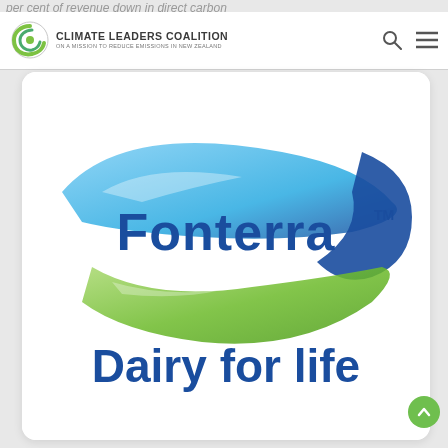per cent of revenue down in direct carbon
[Figure (logo): Climate Leaders Coalition logo — green spiral C icon with text 'CLIMATE LEADERS COALITION ON A MISSION TO REDUCE EMISSIONS IN NEW ZEALAND']
[Figure (logo): Fonterra logo — oval shape with blue and green swooshes, text 'Fonterra TM' and tagline 'Dairy for life' in dark blue bold font]